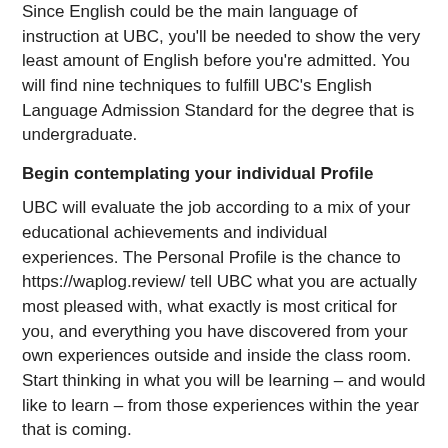Since English could be the main language of instruction at UBC, you'll be needed to show the very least amount of English before you're admitted. You will find nine techniques to fulfill UBC's English Language Admission Standard for the degree that is undergraduate.
Begin contemplating your individual Profile
UBC will evaluate the job according to a mix of your educational achievements and individual experiences. The Personal Profile is the chance to https://waplog.review/ tell UBC what you are actually most pleased with, what exactly is most critical for you, and everything you have discovered from your own experiences outside and inside the class room. Start thinking in what you will be learning – and would like to learn – from those experiences within the year that is coming.
Make your best effort
A university that is competitive UBC receives more applications than are accommodated. We desire we're able to acknowledge all applicants that are qualified but we just don't have actually the room. Starting in 2019, UBC will soon be adopting a thorough